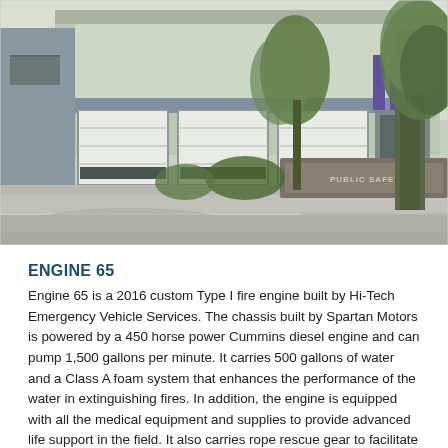[Figure (photo): Exterior photograph of a fire/public safety station building with large white garage doors, green-gray shingle siding, trees, and a low stone wall with 'PUBLIC SAFETY' text visible. Taken on a sunny day.]
ENGINE 65
Engine 65 is a 2016 custom Type I fire engine built by Hi-Tech Emergency Vehicle Services. The chassis built by Spartan Motors is powered by a 450 horse power Cummins diesel engine and can pump 1,500 gallons per minute. It carries 500 gallons of water and a Class A foam system that enhances the performance of the water in extinguishing fires. In addition, the engine is equipped with all the medical equipment and supplies to provide advanced life support in the field. It also carries rope rescue gear to facilitate any type of low to